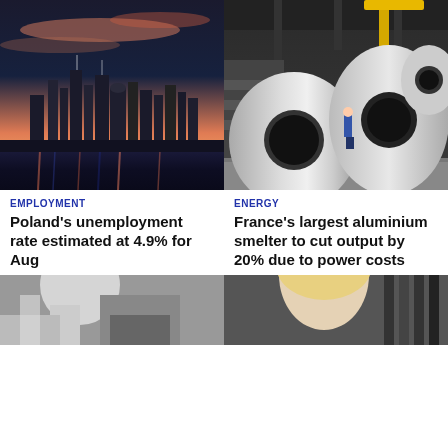[Figure (photo): City skyline at dusk reflected in a river, with colorful sky]
[Figure (photo): Large aluminium rolls in an industrial smelter facility with a worker visible]
EMPLOYMENT
Poland's unemployment rate estimated at 4.9% for Aug
ENERGY
France's largest aluminium smelter to cut output by 20% due to power costs
[Figure (photo): Partial photo of person near industrial equipment]
[Figure (photo): Partial photo of a blonde person indoors]